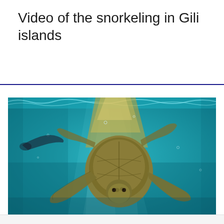Video of the snorkeling in Gili islands
[Figure (photo): Underwater photograph of a sea turtle swimming near the surface in clear turquoise water, viewed from slightly below, with light refracting through the water surface above.]